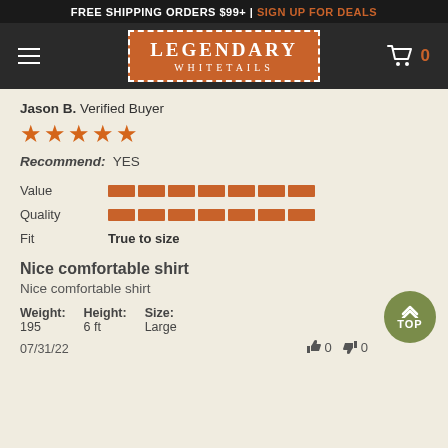FREE SHIPPING ORDERS $99+ | SIGN UP FOR DEALS
[Figure (logo): Legendary Whitetails logo in orange box with dashed white border, on dark navigation bar with hamburger menu and cart icon showing 0 items]
Jason B. Verified Buyer
[Figure (other): 5-star rating displayed as orange stars]
Recommend: YES
| Attribute | Rating |
| --- | --- |
| Value | bar-rating |
| Quality | bar-rating |
| Fit | True to size |
Nice comfortable shirt
Nice comfortable shirt
Weight: 195  Height: 6 ft  Size: Large
07/31/22